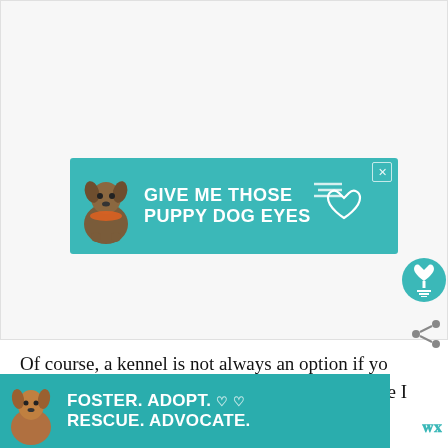[Figure (illustration): Teal advertisement banner with a dog image and text 'GIVE ME THOSE PUPPY DOG EYES' with heart and speed lines graphic, and a close button (X) in top right corner.]
[Figure (illustration): Teal circular button with a white heart/charity icon (pendant lamp shape) used as a social interaction button on the right side.]
[Figure (illustration): Share icon button with connected dots graphic on the right side.]
Of course, a kennel is not always an option if you have a larger dog and a smaller car as I do. While I ca... on my
[Figure (illustration): Teal advertisement banner at bottom with a dog image and text 'FOSTER. ADOPT. RESCUE. ADVOCATE.' with heart outline icons, and a close button (X).]